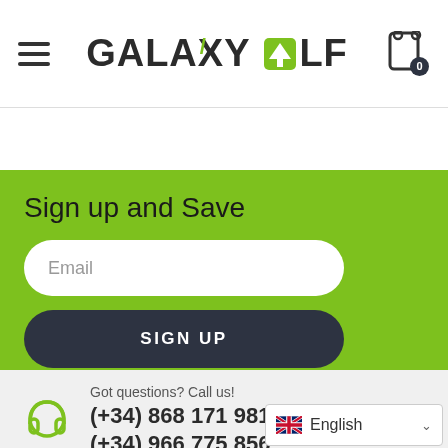Galaxy Golf - Header with hamburger menu, logo, and cart icon (0 items)
Sign up and Save
Email
SIGN UP
Got questions? Call us!
(+34) 868 171 981
(+34) 966 775 856
English